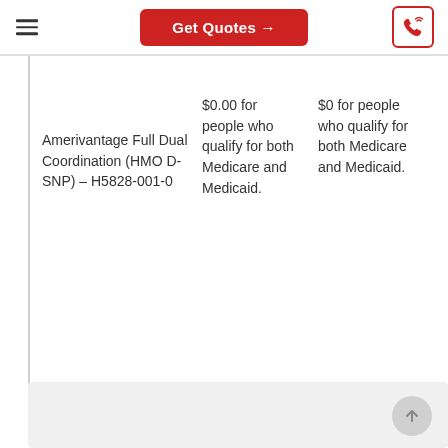Get Quotes →
Amerivantage Full Dual Coordination (HMO D-SNP) – H5828-001-0
$0.00 for people who qualify for both Medicare and Medicaid.
$0 for people who qualify for both Medicare and Medicaid.